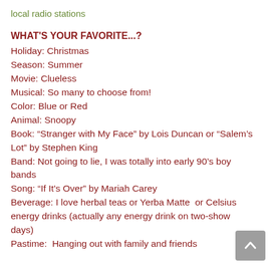local radio stations
WHAT'S YOUR FAVORITE...?
Holiday: Christmas
Season: Summer
Movie: Clueless
Musical: So many to choose from!
Color: Blue or Red
Animal: Snoopy
Book: “Stranger with My Face” by Lois Duncan or “Salem’s Lot” by Stephen King
Band: Not going to lie, I was totally into early 90’s boy bands
Song: “If It’s Over” by Mariah Carey
Beverage: I love herbal teas or Yerba Matte  or Celsius energy drinks (actually any energy drink on two-show days)
Pastime:  Hanging out with family and friends